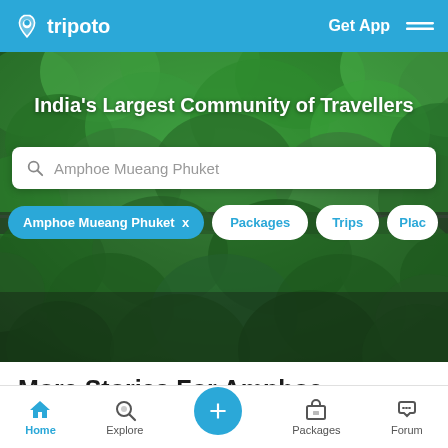tripoto   Get App
[Figure (photo): Aerial view of dense green forest/trees with a road visible, used as hero background image]
India's Largest Community of Travellers
Amphoe Mueang Phuket (search box)
Amphoe Mueang Phuket x
Packages
Trips
Plac...
More Stories For Amphoe Mueang Phuket
Home   Explore   +   Packages   Forum